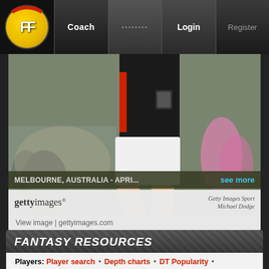FF | Coach | ........ | Login | Register
[Figure (photo): Australian football player running in Essendon black/red/white kit with Adidas boots, taken at Melbourne Australia. Getty Images Sport photo by Michael Dodge.]
MELBOURNE, AUSTRALIA - APRI... see more
getty images  Getty Images Sport  Michael Dodge
View image | gettyimages.com
FANTASY RESOURCES
Players: Player search • Depth charts • DT Popularity •